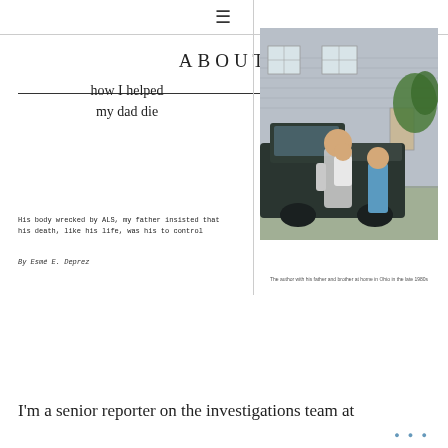≡
ABOUT
how I helped my dad die
His body wrecked by ALS, my father insisted that his death, like his life, was his to control
By Esmé E. Deprez
[Figure (photo): A man holding a young child in front of a dark vintage truck, with a boy in blue shirt visible at right, house in background]
The author with his father and brother at home in Ohio in the late 1980s
I'm a senior reporter on the investigations team at